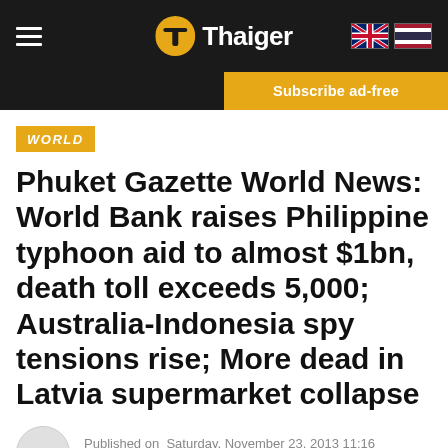Thaiger
Subscribe ad-free
WORLD
Phuket Gazette World News: World Bank raises Philippine typhoon aid to almost $1bn, death toll exceeds 5,000; Australia-Indonesia spy tensions rise; More dead in Latvia supermarket collapse
Published on Saturday, November 23, 2013 11:16
By Legacy Phuket Gazette